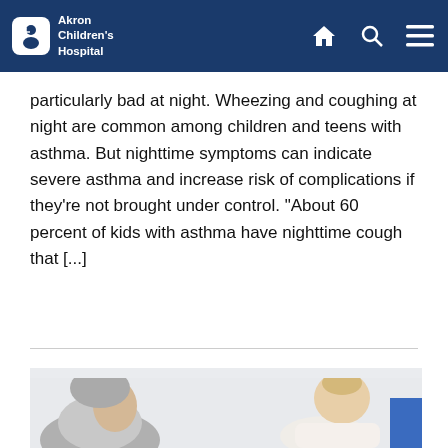Akron Children's Hospital
particularly bad at night. Wheezing and coughing at night are common among children and teens with asthma. But nighttime symptoms can indicate severe asthma and increase risk of complications if they're not brought under control. "About 60 percent of kids with asthma have nighttime cough that [...]
[Figure (photo): An elderly person with gray hair holding up a baby in a white outfit, both looking at each other, against a light background. Another person in a blue outfit is partially visible.]